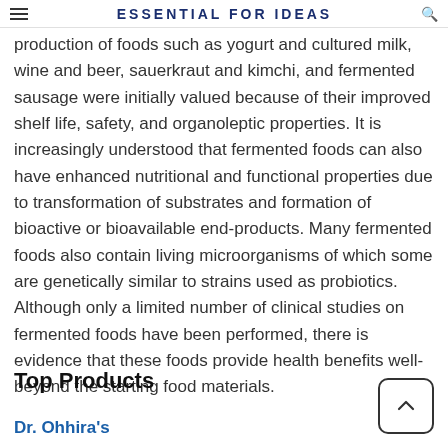ESSENTIAL FOR IDEAS
production of foods such as yogurt and cultured milk, wine and beer, sauerkraut and kimchi, and fermented sausage were initially valued because of their improved shelf life, safety, and organoleptic properties. It is increasingly understood that fermented foods can also have enhanced nutritional and functional properties due to transformation of substrates and formation of bioactive or bioavailable end-products. Many fermented foods also contain living microorganisms of which some are genetically similar to strains used as probiotics. Although only a limited number of clinical studies on fermented foods have been performed, there is evidence that these foods provide health benefits well-beyond the starting food materials.
Top Products
Dr. Ohhira's